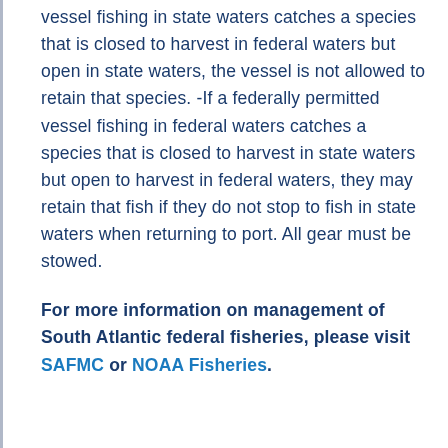vessel fishing in state waters catches a species that is closed to harvest in federal waters but open in state waters, the vessel is not allowed to retain that species. -If a federally permitted vessel fishing in federal waters catches a species that is closed to harvest in state waters but open to harvest in federal waters, they may retain that fish if they do not stop to fish in state waters when returning to port. All gear must be stowed.
For more information on management of South Atlantic federal fisheries, please visit SAFMC or NOAA Fisheries.